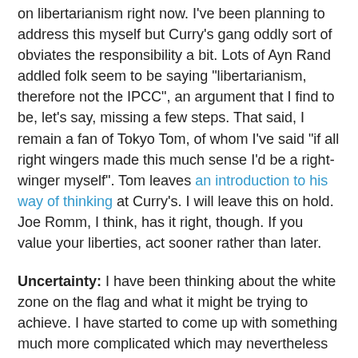on libertarianism right now. I've been planning to address this myself but Curry's gang oddly sort of obviates the responsibility a bit. Lots of Ayn Rand addled folk seem to be saying "libertarianism, therefore not the IPCC", an argument that I find to be, let's say, missing a few steps. That said, I remain a fan of Tokyo Tom, of whom I've said "if all right wingers made this much sense I'd be a right-winger myself". Tom leaves an introduction to his way of thinking at Curry's. I will leave this on hold. Joe Romm, I think, has it right, though. If you value your liberties, act sooner rather than later.
Uncertainty: I have been thinking about the white zone on the flag and what it might be trying to achieve. I have started to come up with something much more complicated which may nevertheless clarify the issue of meta-uncertainty. Paul Baer has been nagging me about this for a year now. In short, there really is something to be said for "how sure are you about your uncertainty?" once we try to think collectively.
The Forbes Piece: A shorter version of the RC piece needs publishing, in Forbes if possible. It won't appear here, of